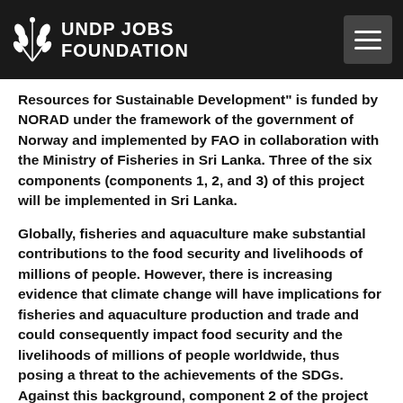UNDP JOBS FOUNDATION
Resources for Sustainable Development" is funded by NORAD under the framework of the government of Norway and implemented by FAO in collaboration with the Ministry of Fisheries in Sri Lanka. Three of the six components (components 1, 2, and 3) of this project will be implemented in Sri Lanka.
Globally, fisheries and aquaculture make substantial contributions to the food security and livelihoods of millions of people. However, there is increasing evidence that climate change will have implications for fisheries and aquaculture production and trade and could consequently impact food security and the livelihoods of millions of people worldwide, thus posing a threat to the achievements of the SDGs. Against this background, component 2 of the project aims to support Sri Lanka to adapt to climate change effectively while ensuring the socio-economic development of the fishery and aquaculture sector. The ultimate goal of this component is to support Sri Lanka in the development and implementation of its National Determined Contributions (NDCs) and National